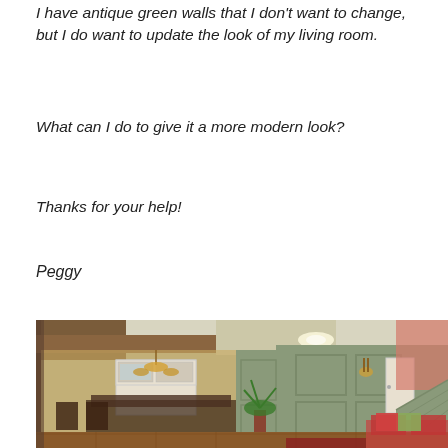I have antique green walls that I don't want to change, but I do want to update the look of my living room.
What can I do to give it a more modern look?
Thanks for your help!
Peggy
[Figure (photo): Interior photo of a living room with antique green paneled walls, wood beam ceiling, plaid sofa with red and green pillows, hardwood floors, staircase on right, and open view into kitchen/dining area on the left with chandelier lighting.]